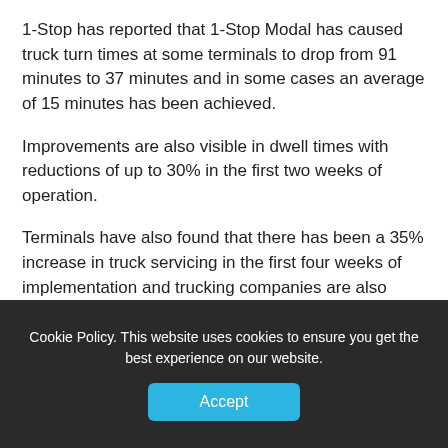1-Stop has reported that 1-Stop Modal has caused truck turn times at some terminals to drop from 91 minutes to 37 minutes and in some cases an average of 15 minutes has been achieved.
Improvements are also visible in dwell times with reductions of up to 30% in the first two weeks of operation.
Terminals have also found that there has been a 35% increase in truck servicing in the first four weeks of implementation and trucking companies are also experiencing up to five times more utilisation per truck.
Cookie Policy. This website uses cookies to ensure you get the best experience on our website.